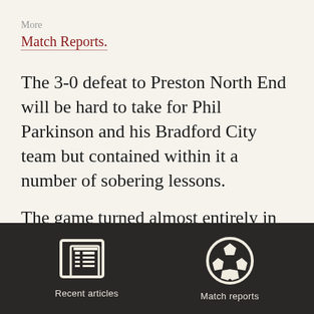More
Match Reports.
The 3-0 defeat to Preston North End will be hard to take for Phil Parkinson and his Bradford City team but contained within it a number of sobering lessons.
The game turned almost entirely in
[Figure (illustration): Dark navigation bar with two icons: a newspaper icon labeled 'Recent articles' and a soccer ball icon labeled 'Match reports']